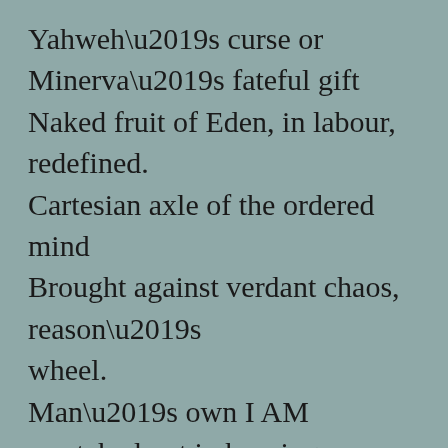Yahweh’s curse or Minerva’s fateful gift
Naked fruit of Eden, in labour, redefined.
Cartesian axle of the ordered mind
Brought against verdant chaos, reason’s wheel.
Man’s own I AM scratched out in burning field
Soft, intransigent infinity of line.

What have we lost in this well-structured world
Ploughed out by our sentient, divided kind?
A hard, unnamed, uncultivated bliss;
Adam and fine-boned Eve’s first savage kiss;